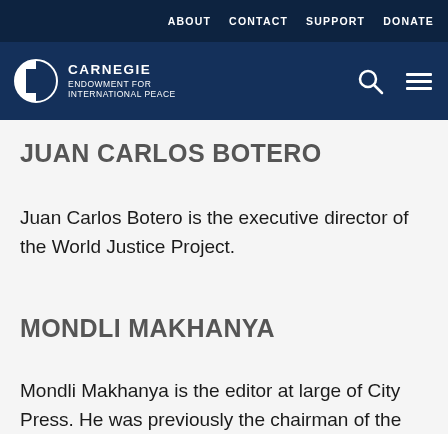ABOUT   CONTACT   SUPPORT   DONATE
[Figure (logo): Carnegie Endowment for International Peace logo with navigation icons (search and hamburger menu)]
JUAN CARLOS BOTERO
Juan Carlos Botero is the executive director of the World Justice Project.
MONDLI MAKHANYA
Mondli Makhanya is the editor at large of City Press. He was previously the chairman of the